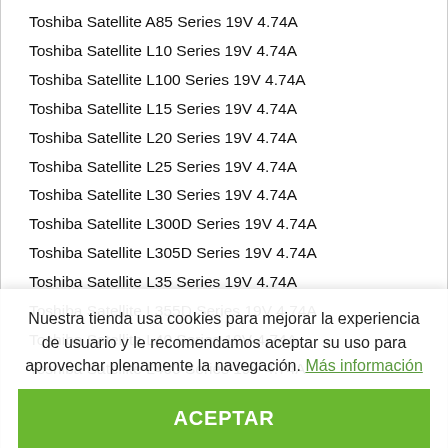Toshiba Satellite A80 Series 19V 4.74A
Toshiba Satellite A85 Series 19V 4.74A
Toshiba Satellite L10 Series 19V 4.74A
Toshiba Satellite L100 Series 19V 4.74A
Toshiba Satellite L15 Series 19V 4.74A
Toshiba Satellite L20 Series 19V 4.74A
Toshiba Satellite L25 Series 19V 4.74A
Toshiba Satellite L30 Series 19V 4.74A
Toshiba Satellite L300D Series 19V 4.74A
Toshiba Satellite L305D Series 19V 4.74A
Toshiba Satellite L35 Series 19V 4.74A
Toshiba Satellite L355D Series 19V 4.74A
Toshiba Satellite L40 Series 19V 4.74A
Toshiba Satellite L400 Series 19V 4.74A
Toshiba Satellite L401 19V 4.74A
Toshiba Satellite L402 19V 4.74A
Toshiba Satellite L45 Series 19V 4.74A
Toshiba Satellite M200 Series 19V 4.74A
Toshiba Satellite M205 Series 19V 4.74A
Toshiba Satellite M305 Series 19V 4.74A
Nuestra tienda usa cookies para mejorar la experiencia de usuario y le recomendamos aceptar su uso para aprovechar plenamente la navegación. Más información
ACEPTAR